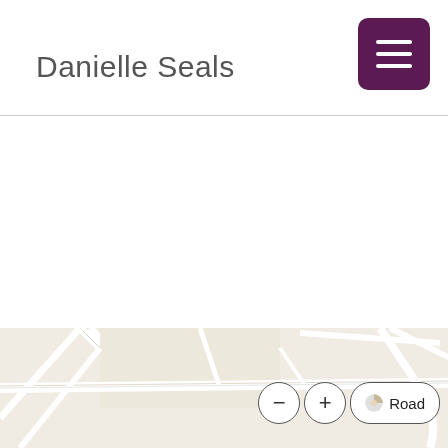Danielle Seals
[Figure (map): Street map view with road network, showing map controls: minus zoom button, plus zoom button, and Road view type selector]
Road